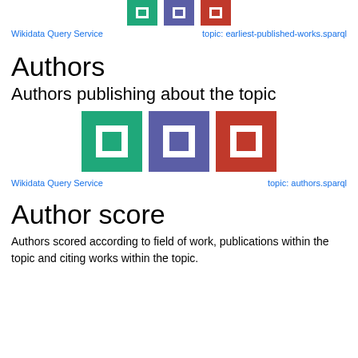[Figure (illustration): Three colored icon boxes (green, blue/purple, red) partially visible at the top of the page]
Wikidata Query Service    topic: earliest-published-works.sparql
Authors
Authors publishing about the topic
[Figure (illustration): Three colored icon boxes (green, blue/purple, red) with white square cutout in center]
Wikidata Query Service    topic: authors.sparql
Author score
Authors scored according to field of work, publications within the topic and citing works within the topic.